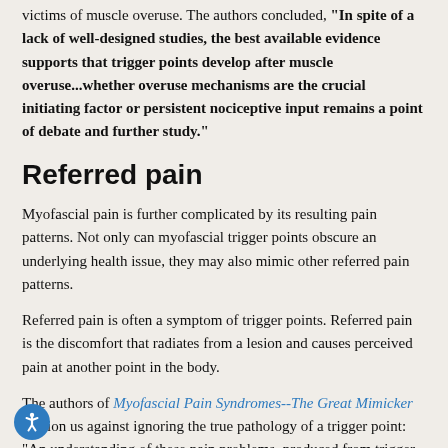victims of muscle overuse. The authors concluded, "In spite of a lack of well-designed studies, the best available evidence supports that trigger points develop after muscle overuse...whether overuse mechanisms are the crucial initiating factor or persistent nociceptive input remains a point of debate and further study."
Referred pain
Myofascial pain is further complicated by its resulting pain patterns. Not only can myofascial trigger points obscure an underlying health issue, they may also mimic other referred pain patterns.
Referred pain is often a symptom of trigger points. Referred pain is the discomfort that radiates from a lesion and causes perceived pain at another point in the body.
The authors of Myofascial Pain Syndromes--The Great Mimicker caution us against ignoring the true pathology of a trigger point: "An understanding of these pain problems, produced from trigger points, may be contributing to...